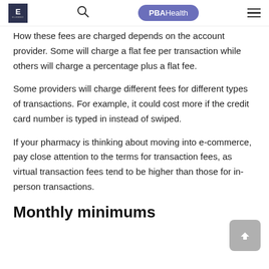E | [search] | PBAHealth | [menu]
How these fees are charged depends on the account provider. Some will charge a flat fee per transaction while others will charge a percentage plus a flat fee.
Some providers will charge different fees for different types of transactions. For example, it could cost more if the credit card number is typed in instead of swiped.
If your pharmacy is thinking about moving into e-commerce, pay close attention to the terms for transaction fees, as virtual transaction fees tend to be higher than those for in-person transactions.
Monthly minimums